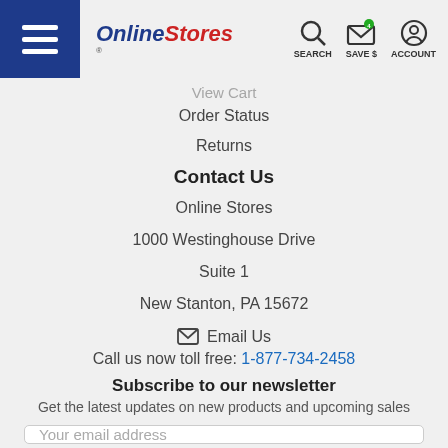Online Stores — SEARCH SAVE $ ACCOUNT
View Cart
Order Status
Returns
Contact Us
Online Stores
1000 Westinghouse Drive
Suite 1
New Stanton, PA 15672
✉ Email Us
Call us now toll free: 1-877-734-2458
Subscribe to our newsletter
Get the latest updates on new products and upcoming sales
Your email address
SUBSCRIBE